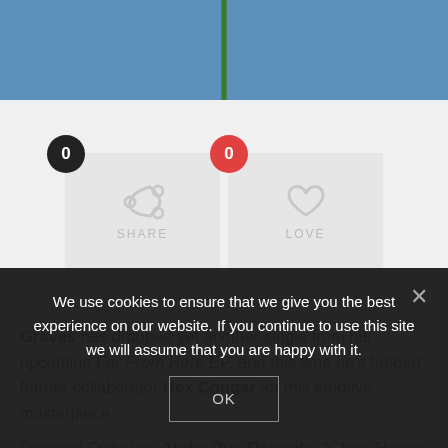[Figure (photo): Top portion of a webpage showing a blue sky background with a green plant stem in the center]
[Figure (screenshot): Social share and love buttons with counters showing 0 shares and 0 loves on a light gray background]
Graves has dropped yet another single from his upcoming Far From Here EP, and this time he's tapped former collaborator Hex Cougar for this emotive masterpiece.
Dropped Friday on Alpha Pup Records, "Glass Hearts (How Much You Mean)" features SoundCloud emo rap sensation Lil Narnia
We use cookies to ensure that we give you the best experience on our website. If you continue to use this site we will assume that you are happy with it.
OK